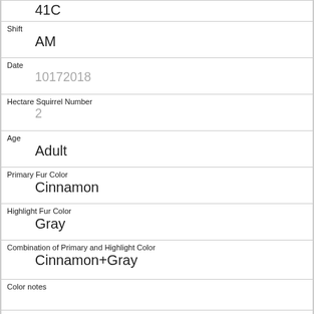41C
Shift
AM
Date
10172018
Hectare Squirrel Number
2
Age
Adult
Primary Fur Color
Cinnamon
Highlight Fur Color
Gray
Combination of Primary and Highlight Color
Cinnamon+Gray
Color notes
Location
Ground Plane
Above Ground Sighter Measurement
FALSE